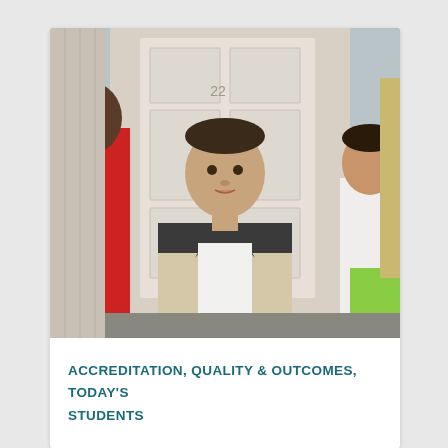[Figure (photo): A young man in a black and beige leather jacket with a white t-shirt stands in front of a white paneled door with the number 22 visible. To his left is a person in a red sports jersey with partial text 'WE'. To his right is a woman in a white top with a green item visible. The scene appears to be from a movie or TV show set in front of a residential home.]
ACCREDITATION, QUALITY & OUTCOMES, TODAY'S STUDENTS